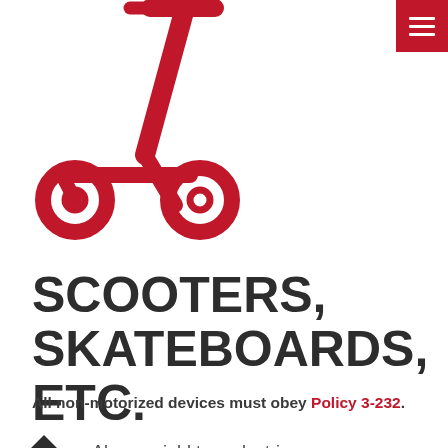[Figure (illustration): Red scooter/kick-scooter icon illustration in the top left area]
SCOOTERS, SKATEBOARDS, ETC.
All non-motorized devices must obey Policy 3-232.
Always yield to pedestrians.
Skateboards, scooters and